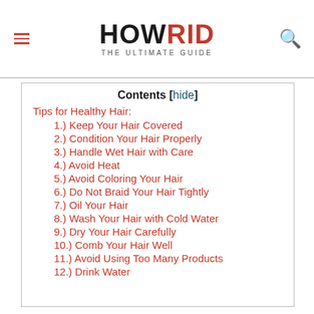HOWRID THE ULTIMATE GUIDE
Contents [hide]
Tips for Healthy Hair:
1.) Keep Your Hair Covered
2.) Condition Your Hair Properly
3.) Handle Wet Hair with Care
4.) Avoid Heat
5.) Avoid Coloring Your Hair
6.) Do Not Braid Your Hair Tightly
7.) Oil Your Hair
8.) Wash Your Hair with Cold Water
9.) Dry Your Hair Carefully
10.) Comb Your Hair Well
11.) Avoid Using Too Many Products
12.) Drink Water